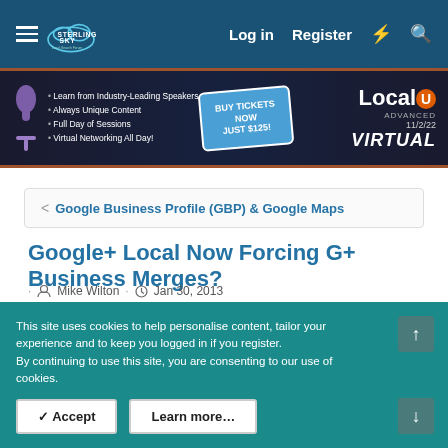Sterling Sky Local Search Forum — Log in  Register
[Figure (screenshot): LocalU Advanced Virtual event banner ad. Dark background with bullet points: Learn from Industry-Leading Speakers, Always Unique Content, Full Day of Sessions, Virtual Networking All Day! Buy Tickets Now Just $125! LocalU Advanced Virtual 11/2/22]
< Google Business Profile (GBP) & Google Maps
Google+ Local Now Forcing G+ Business Merges?
· Mike Wilton · Jan 30, 2013
Mike Wilton
This site uses cookies to help personalise content, tailor your experience and to keep you logged in if you register.
By continuing to use this site, you are consenting to our use of cookies.